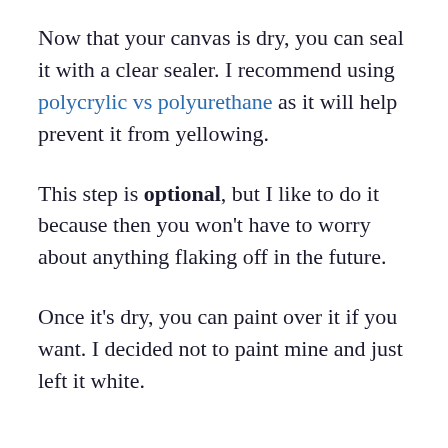Now that your canvas is dry, you can seal it with a clear sealer. I recommend using polycrylic vs polyurethane as it will help prevent it from yellowing.
This step is optional, but I like to do it because then you won't have to worry about anything flaking off in the future.
Once it's dry, you can paint over it if you want. I decided not to paint mine and just left it white.